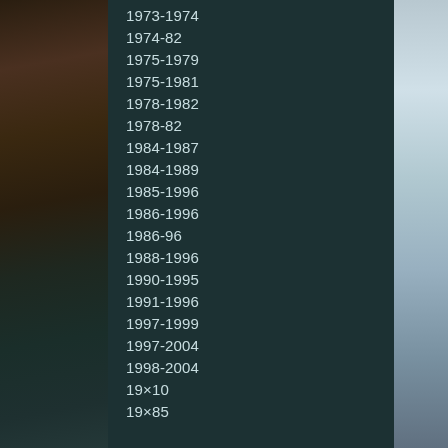1973-1974
1974-82
1975-1979
1975-1981
1978-1982
1978-82
1984-1987
1984-1989
1985-1996
1986-1996
1986-96
1988-1996
1990-1995
1991-1996
1997-1999
1997-2004
1998-2004
19×10
19×85